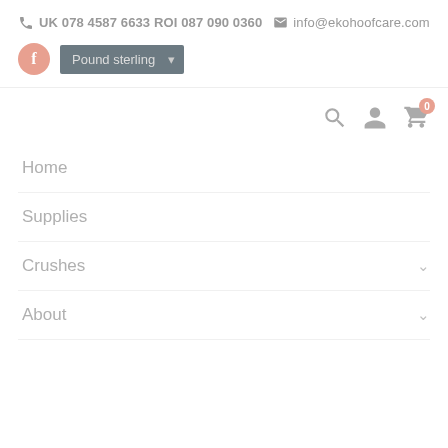UK 078 4587 6633 ROI 087 090 0360 info@ekohoofcare.com
[Figure (screenshot): Facebook icon (salmon/pink circle with white f) and Pound sterling currency dropdown button]
[Figure (screenshot): Navigation header icons: search, user account, and shopping cart with 0 badge]
Home
Supplies
Crushes
About